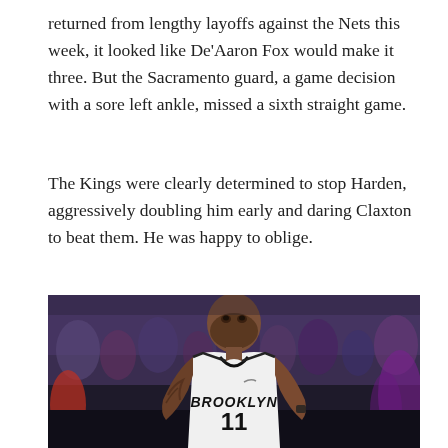returned from lengthy layoffs against the Nets this week, it looked like De'Aaron Fox would make it three. But the Sacramento guard, a game decision with a sore left ankle, missed a sixth straight game.
The Kings were clearly determined to stop Harden, aggressively doubling him early and daring Claxton to beat them. He was happy to oblige.
[Figure (photo): A Brooklyn Nets player wearing jersey number 11 (Kyrie Irving) looking upward, standing on a basketball court with a blurred crowd in the background. The player wears a white Brooklyn Nets uniform.]